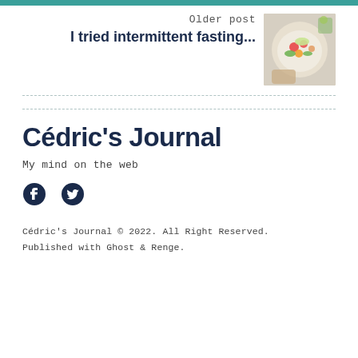Older post
I tried intermittent fasting...
[Figure (photo): A bowl of colorful food including vegetables and grains, viewed from above]
Cédric's Journal
My mind on the web
[Figure (illustration): Social media icons: Facebook and Twitter]
Cédric's Journal © 2022. All Right Reserved. Published with Ghost & Renge.